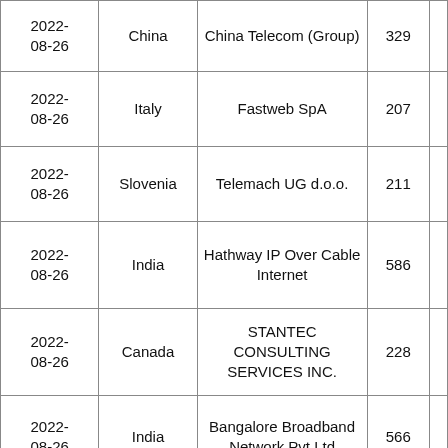| Date | Country | Organization | ASN |  |
| --- | --- | --- | --- | --- |
| 2022-08-26 | China | China Telecom (Group) | 329 |  |
| 2022-08-26 | Italy | Fastweb SpA | 207 |  |
| 2022-08-26 | Slovenia | Telemach UG d.o.o. | 211 |  |
| 2022-08-26 | India | Hathway IP Over Cable Internet | 586 |  |
| 2022-08-26 | Canada | STANTEC CONSULTING SERVICES INC. | 228 |  |
| 2022-08-26 | India | Bangalore Broadband Network Pvt Ltd | 566 |  |
| 2022-08-26 | Somalia | SomCable | 272 |  |